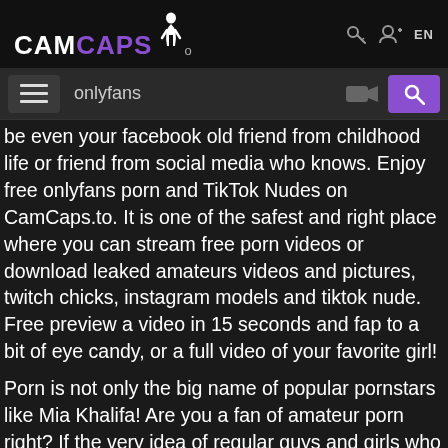CAMCAPS.to
onlyfans
be even your facebook old friend from childhood life or friend from social media who knows. Enjoy free onlyfans porn and TikTok Nudes on CamCaps.to. It is one of the safest and right place where you can stream free porn videos or download leaked amateurs videos and pictures, twitch chicks, instagram models and tiktok nude. Free preview a video in 15 seconds and fap to a bit of eye candy, or a full video of your favorite girl!
Porn is not only the big name of popular pornstars like Mia Khalifa! Are you a fan of amateur porn right? If the very idea of regular guys and girls who want to share their intimacy with the world excites you, it's time to check out our sextape leak category and enjoy every minute of it! Thanks to CamCaps.to you can watch the hottest amateur sextape right here without